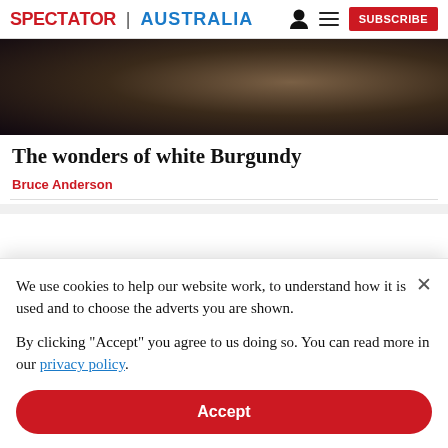SPECTATOR | AUSTRALIA
[Figure (photo): Dark close-up photo of hands, likely holding something, with a moody dark background]
The wonders of white Burgundy
Bruce Anderson
We use cookies to help our website work, to understand how it is used and to choose the adverts you are shown.

By clicking "Accept" you agree to us doing so. You can read more in our privacy policy.
Accept